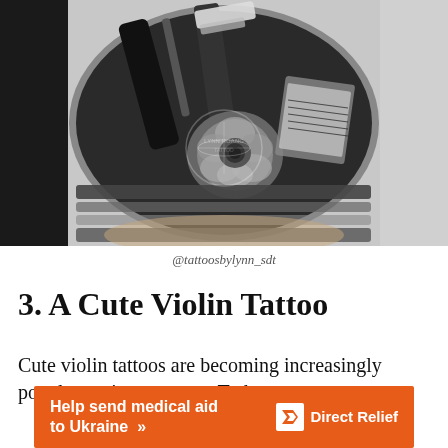[Figure (photo): A black and grey realism tattoo on a forearm featuring a violin with a rose and music sheet notes, done in highly detailed black and grey style. Watermark reads LYNN HOANG.]
@tattoosbylynn_sdt
3. A Cute Violin Tattoo
Cute violin tattoos are becoming increasingly popular as time goes on. Today, many
[Figure (infographic): Orange advertisement banner: 'Help send medical aid to Ukraine >>' with Direct Relief logo on the right]